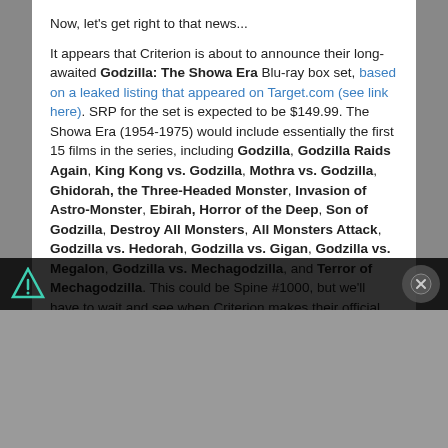Now, let's get right to that news...
It appears that Criterion is about to announce their long-awaited Godzilla: The Showa Era Blu-ray box set, based on a leaked listing that appeared on Target.com (see link here). SRP for the set is expected to be $149.99. The Showa Era (1954-1975) would include essentially the first 15 films in the series, including Godzilla, Godzilla Raids Again, King Kong vs. Godzilla, Mothra vs. Godzilla, Ghidorah, the Three-Headed Monster, Invasion of Astro-Monster, Ebirah, Horror of the Deep, Son of Godzilla, Destroy All Monsters, All Monsters Attack, Godzilla vs. Hedorah, Godzilla vs. Gigan, Godzilla vs. Megalon, Godzilla vs. Mechagodzilla, and Terror of Mechagodzilla. This could be Spine #1000, but we'll have to wait and see when Criterion makes their official announcement. [Read on here...]